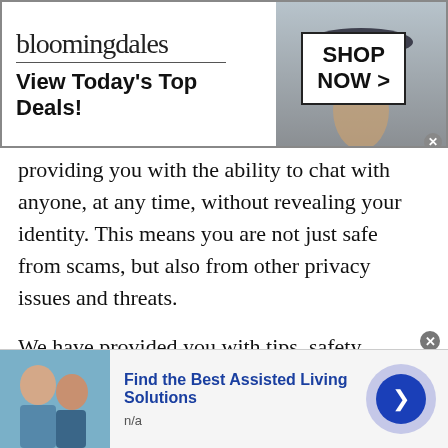[Figure (screenshot): Bloomingdales advertisement banner: logo text 'bloomingdales', tagline 'View Today's Top Deals!', woman in hat image, 'SHOP NOW >' button in box]
providing you with the ability to chat with anyone, at any time, without revealing your identity. This means you are not just safe from scams, but also from other privacy issues and threats.
We have provided you with tips, safety measures, and much more that you will find useful during an Turkmen Free Texting Apps . Now it is your turn to act on our advice and make a lasting first impression. Get ready for your first video chat. Visit our chatrooms for more information and get started now!
[Figure (screenshot): Bottom advertisement: 'Find the Best Assisted Living Solutions', n/a, with image of elderly person and caregiver, and a blue circular arrow button]